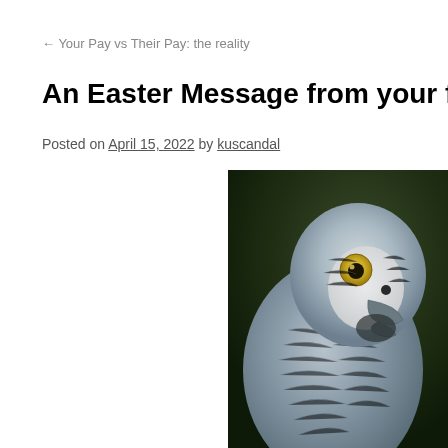← Your Pay vs Their Pay: the reality
An Easter Message from your favourite W
Posted on April 15, 2022 by kuscandal
[Figure (photo): Close-up photo of an African Grey parrot with grey feathers and a yellow eye, against a blurred dark green background]